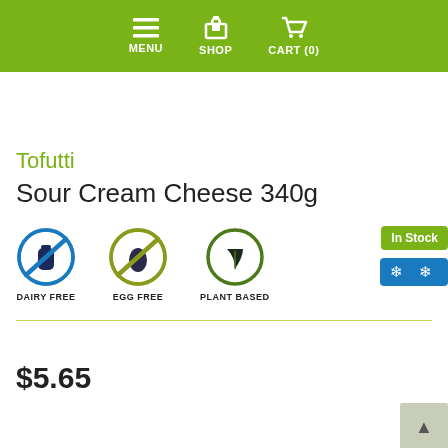MENU   SHOP   CART (0)
Tofutti
In Stock
Sour Cream Cheese 340g
[Figure (infographic): Three dietary icons: Dairy Free (blue circle with milk bottle crossed out), Egg Free (olive/yellow circle with egg crossed out), Plant Based (dark green circle with leaf/plant symbol)]
$5.65